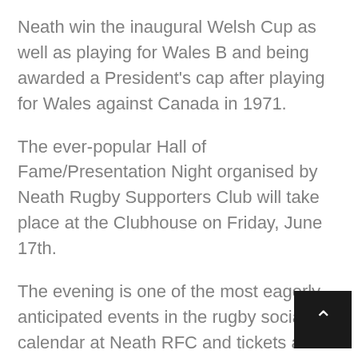Neath win the inaugural Welsh Cup as well as playing for Wales B and being awarded a President's cap after playing for Wales against Canada in 1971.
The ever-popular Hall of Fame/Presentation Night organised by Neath Rugby Supporters Club will take place at the Clubhouse on Friday, June 17th.
The evening is one of the most eagerly anticipated events in the rugby social calendar at Neath RFC and tickets are already selling fast. The tickets are priced at £12 (NRSC members) and £15 (non-members).
If you have not obtained your tickets yet, please get in touch via our social